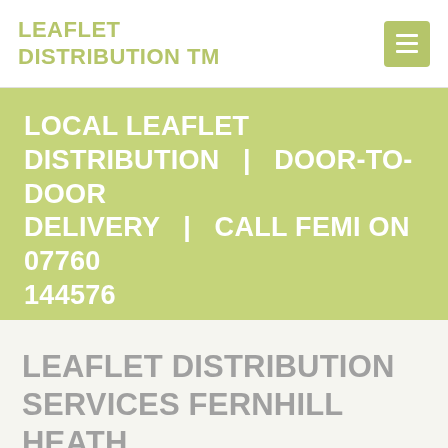LEAFLET DISTRIBUTION TM
LOCAL LEAFLET DISTRIBUTION | DOOR-TO-DOOR DELIVERY | CALL FEMI ON 07760 144576
LEAFLET DISTRIBUTION SERVICES FERNHILL HEATH GUARANTEED LEAFLET DISTRIBUTION, DOOR-TO-